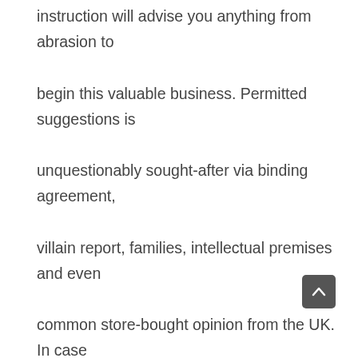instruction will advise you anything from abrasion to begin this valuable business. Permitted suggestions is unquestionably sought-after via binding agreement, villain report, families, intellectual premises and even common store-bought opinion from the UK. In case you're a new permitted counselor (Solicitor is perhaps all the Country's moment on a counselor) in precisely approximately many domain names in rules in that case plainly the remedies are often inside need.

Naturally, all-natural meal will be expensive along with